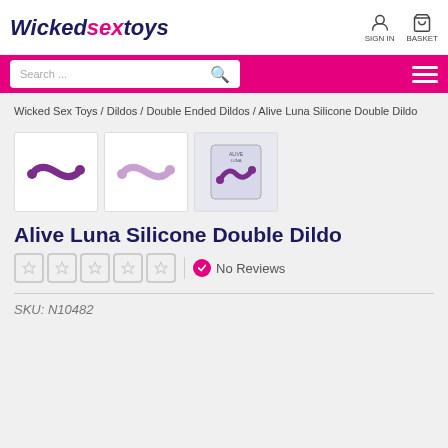[Figure (logo): WickedSexToys logo in dark blue and pink italic text]
[Figure (screenshot): Navigation bar with search box and hamburger menu on pink background]
Wicked Sex Toys / Dildos / Double Ended Dildos / Alive Luna Silicone Double Dildo
[Figure (photo): Three product thumbnail images of the Alive Luna Silicone Double Dildo - purple, light purple, and packaged version]
Alive Luna Silicone Double Dildo
No Reviews
SKU: N10482